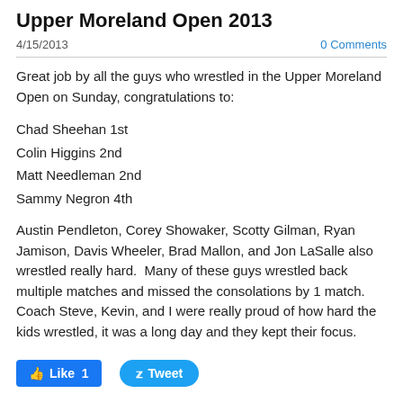Upper Moreland Open 2013
4/15/2013
0 Comments
Great job by all the guys who wrestled in the Upper Moreland Open on Sunday, congratulations to:
Chad Sheehan 1st
Colin Higgins 2nd
Matt Needleman 2nd
Sammy Negron 4th
Austin Pendleton, Corey Showaker, Scotty Gilman, Ryan Jamison, Davis Wheeler, Brad Mallon, and Jon LaSalle also wrestled really hard.  Many of these guys wrestled back multiple matches and missed the consolations by 1 match.  Coach Steve, Kevin, and I were really proud of how hard the kids wrestled, it was a long day and they kept their focus.